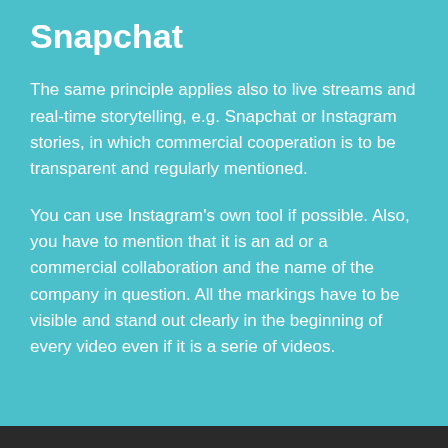Snapchat
The same principle applies also to live streams and real-time storytelling, e.g. Snapchat or Instagram stories, in which commercial cooperation is to be transparent and regularly mentioned.
You can use Instagram's own tool if possible. Also, you have to mention that it is an ad or a commercial collaboration and the name of the company in question. All the markings have to be visible and stand out clearly in the beginning of every video even if it is a serie of videos.